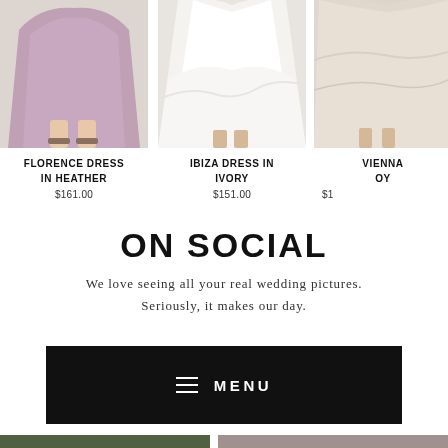[Figure (photo): Product photo of Florence Dress in Heather — lower portion of a woman wearing a flowing mauve/heather-colored maxi dress with strappy sandals]
FLORENCE DRESS IN HEATHER
$161.00
[Figure (photo): Product photo of Ibiza Dress in Ivory — lower portion of a white flowing maxi dress in motion]
IBIZA DRESS IN IVORY
$151.00
[Figure (photo): Partial product photo of Vienna Dress in Oyster — lower portion of a beige/oyster colored maxi dress, cropped on right]
VIENNA ... OY...
$1...
ON SOCIAL
We love seeing all your real wedding pictures. Seriously, it makes our day.
[Figure (screenshot): Dark black menu bar with hamburger icon and the word MENU in white capital letters with wide letter spacing]
[Figure (photo): Bottom strip partially visible — two photos cropped at bottom of page, one appears to be an outdoor/nature scene, one lighter toned photo]